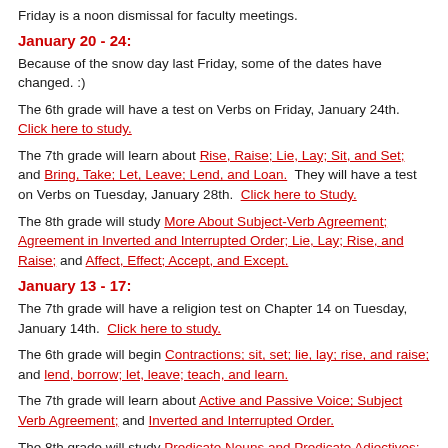Friday is a noon dismissal for faculty meetings.
January 20 - 24:
Because of the snow day last Friday, some of the dates have changed. :)
The 6th grade will have a test on Verbs on Friday, January 24th.  Click here to study.
The 7th grade will learn about Rise, Raise; Lie, Lay; Sit, and Set; and Bring, Take; Let, Leave; Lend, and Loan.  They will have a test on Verbs on Tuesday, January 28th.  Click here to Study.
The 8th grade will study More About Subject-Verb Agreement; Agreement in Inverted and Interrupted Order; Lie, Lay; Rise, and Raise; and Affect, Effect; Accept, and Except.
January 13 - 17:
The 7th grade will have a religion test on Chapter 14 on Tuesday, January 14th.  Click here to study.
The 6th grade will begin Contractions; sit, set; lie, lay; rise, and raise; and lend, borrow; let, leave; teach, and learn.
The 7th grade will learn about Active and Passive Voice; Subject Verb Agreement; and Inverted and Interrupted Order.
The 8th grade will study Predicate Nouns and Predicate Adjectives; Active and Passive Voice; Subject Verb...